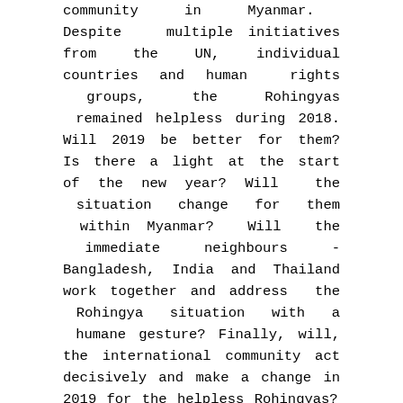community in Myanmar. Despite multiple initiatives from the UN, individual countries and human rights groups, the Rohingyas remained helpless during 2018. Will 2019 be better for them? Is there a light at the start of the new year? Will the situation change for them within Myanmar? Will the immediate neighbours - Bangladesh, India and Thailand work together and address the Rohingya situation with a humane gesture? Finally, will, the international community act decisively and make a change in 2019 for the helpless Rohingyas?
Rohingya in 2018: A Review
According to the UN, the Rohingya are the most prosecuted in the world. 2018 witnessed several UN initiatives for getting access into the northern